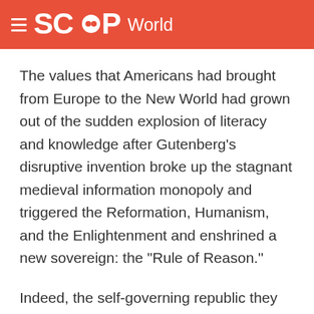SCOOP World
The values that Americans had brought from Europe to the New World had grown out of the sudden explosion of literacy and knowledge after Gutenberg's disruptive invention broke up the stagnant medieval information monopoly and triggered the Reformation, Humanism, and the Enlightenment and enshrined a new sovereign: the "Rule of Reason."
Indeed, the self-governing republic they had the audacity to establish was later named by the historian Henry Steele Commager as "the Empire of Reason."